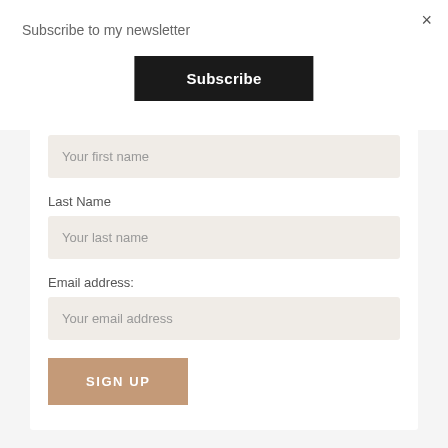Subscribe to my newsletter
×
Subscribe
Your first name
Last Name
Your last name
Email address:
Your email address
SIGN UP